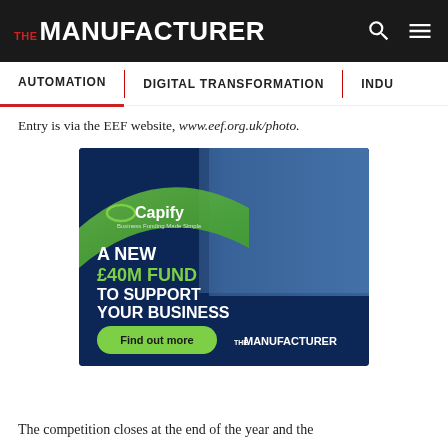THE MANUFACTURER
AUTOMATION | DIGITAL TRANSFORMATION | INDU...
Entry is via the EEF website, www.eef.org.uk/photo.
[Figure (photo): Capify advertisement: A NEW £40M FUND TO SUPPORT YOUR BUSINESS. Find out more. The Manufacturer. Business Funding Made Simple. Two workers in hi-vis jackets looking at a laptop.]
The competition closes at the end of the year and the